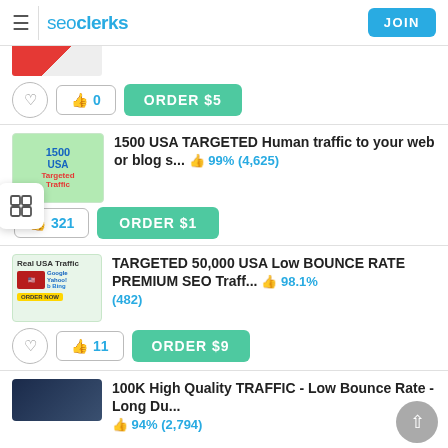seoclerks JOIN
[Figure (screenshot): Partially visible product thumbnail at top of feed]
0   ORDER $5
1500 USA TARGETED Human traffic to your web or blog s...  99% (4,625)
321   ORDER $1
TARGETED 50,000 USA Low BOUNCE RATE PREMIUM SEO Traff...  98.1% (482)
11   ORDER $9
100K High Quality TRAFFIC - Low Bounce Rate - Long Du...  94% (2,794)